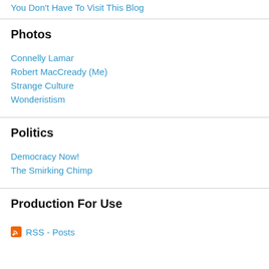You Don't Have To Visit This Blog
Photos
Connelly Lamar
Robert MacCready (Me)
Strange Culture
Wonderistism
Politics
Democracy Now!
The Smirking Chimp
Production For Use
RSS - Posts